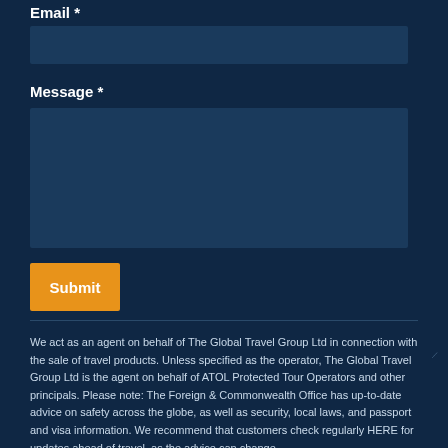Email *
Message *
Submit
We act as an agent on behalf of The Global Travel Group Ltd in connection with the sale of travel products. Unless specified as the operator, The Global Travel Group Ltd is the agent on behalf of ATOL Protected Tour Operators and other principals. Please note: The Foreign & Commonwealth Office has up-to-date advice on safety across the globe, as well as security, local laws, and passport and visa information. We recommend that customers check regularly HERE for updates ahead of travel, as the advice can change.